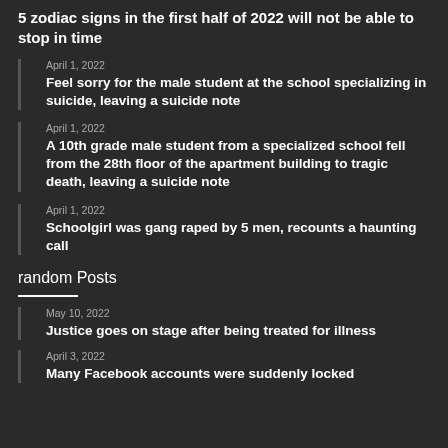5 zodiac signs in the first half of 2022 will not be able to stop in time
April 1, 2022
Feel sorry for the male student at the school specializing in suicide, leaving a suicide note
April 1, 2022
A 10th grade male student from a specialized school fell from the 28th floor of the apartment building to tragic death, leaving a suicide note
April 1, 2022
Schoolgirl was gang raped by 5 men, recounts a haunting call
random Posts
May 10, 2022
Justice goes on stage after being treated for illness
April 3, 2022
Many Facebook accounts were suddenly locked